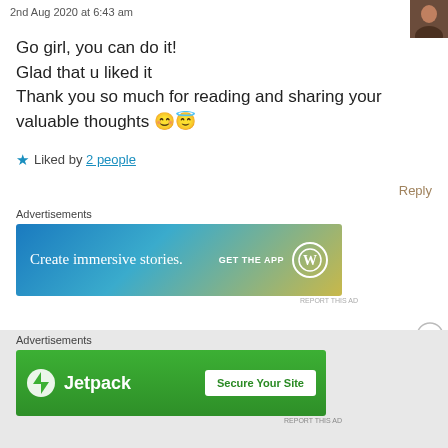2nd Aug 2020 at 6:43 am
Go girl, you can do it!
Glad that u liked it
Thank you so much for reading and sharing your valuable thoughts 😊😇
★ Liked by 2 people
Reply
Advertisements
[Figure (screenshot): WordPress app advertisement banner: 'Create immersive stories. GET THE APP' with WordPress logo]
Advertisements
[Figure (screenshot): Jetpack advertisement banner: Jetpack logo and 'Secure Your Site' button]